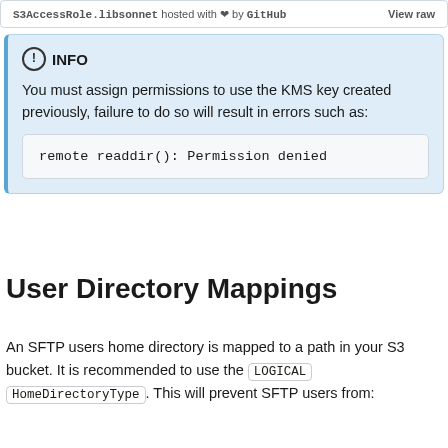S3AccessRole.libsonnet hosted with ❤ by GitHub  View raw
INFO
You must assign permissions to use the KMS key created previously, failure to do so will result in errors such as:

remote readdir(): Permission denied
User Directory Mappings
An SFTP users home directory is mapped to a path in your S3 bucket. It is recommended to use the LOGICAL HomeDirectoryType. This will prevent SFTP users from: